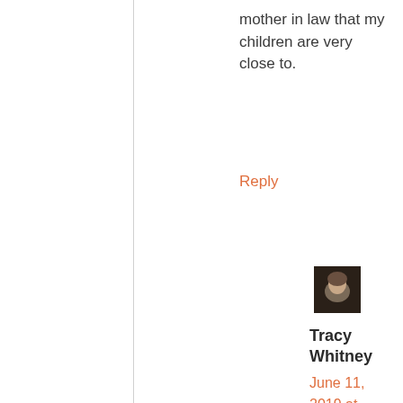mother in law that my children are very close to.
Reply
[Figure (photo): Small avatar photo of a person with gray hair against a dark background]
Tracy Whitney
June 11, 2019 at 11:39 am
I'd